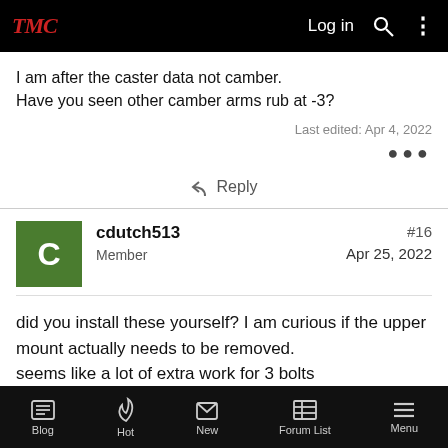TMC — Log in
I am after the caster data not camber.
Have you seen other camber arms rub at -3?
Last edited: Apr 4, 2022
⋯
↩ Reply
cdutch513
Member
#16
Apr 25, 2022
did you install these yourself? I am curious if the upper mount actually needs to be removed.
seems like a lot of extra work for 3 bolts
Blog   Hot   New   Forum List   Menu